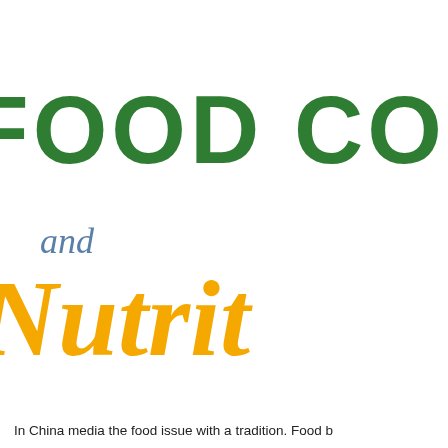FOOD CO
and
Nutrit
In China media the food issue with a tradition. Food b...